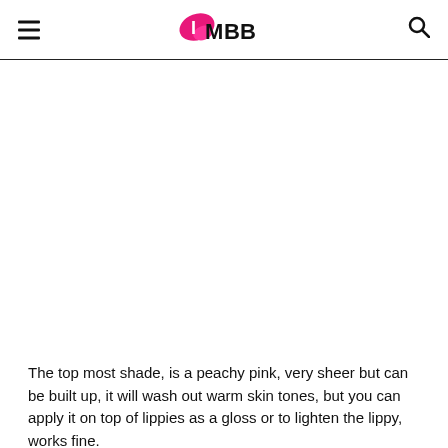IMBB
[Figure (other): Blank white area where an image would appear]
The top most shade, is a peachy pink, very sheer but can be built up, it will wash out warm skin tones, but you can apply it on top of lippies as a gloss or to lighten the lippy, works fine.